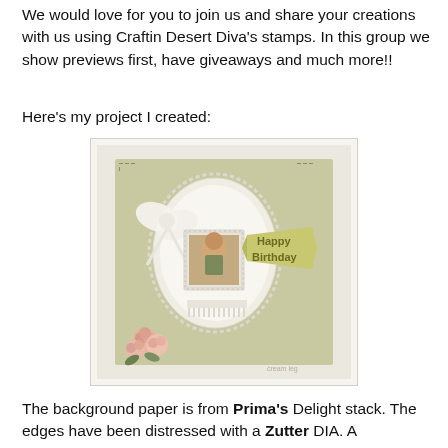We would love for you to join us and share your creations with us using Craftin Desert Diva's stamps. In this group we show previews first, have giveaways and much more!!
Here's my project I created:
[Figure (photo): A handmade vintage-style birthday card with lace, ribbon bow, decorative doily oval frame, a small vintage portrait photo, pink roses, and a 'Happy Birthday' banner. Background paper is green/sage colored with decorative embellishments.]
The background paper is from Prima's Delight stack. The edges have been distressed with a Zutter DIA. A